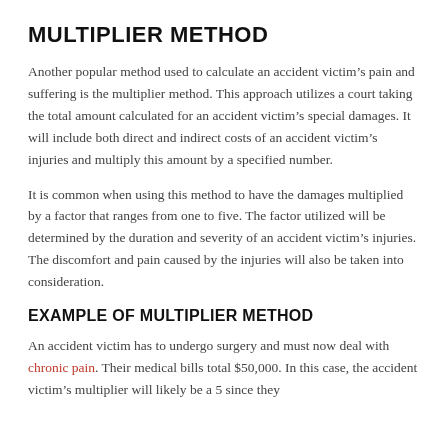MULTIPLIER METHOD
Another popular method used to calculate an accident victim's pain and suffering is the multiplier method. This approach utilizes a court taking the total amount calculated for an accident victim's special damages. It will include both direct and indirect costs of an accident victim's injuries and multiply this amount by a specified number.
It is common when using this method to have the damages multiplied by a factor that ranges from one to five. The factor utilized will be determined by the duration and severity of an accident victim's injuries. The discomfort and pain caused by the injuries will also be taken into consideration.
EXAMPLE OF MULTIPLIER METHOD
An accident victim has to undergo surgery and must now deal with chronic pain. Their medical bills total $50,000. In this case, the accident victim's multiplier will likely be a 5 since they